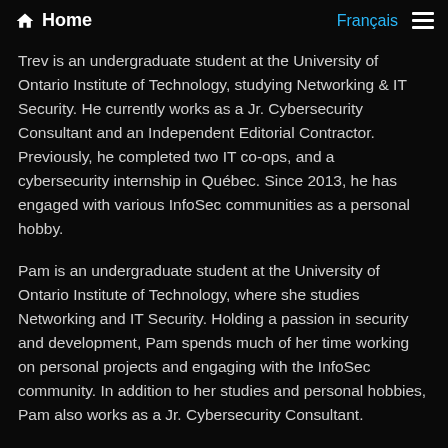Home | Français
Trev is an undergraduate student at the University of Ontario Institute of Technology, studying Networking & IT Security. He currently works as a Jr. Cybersecurity Consultant and an Independent Editorial Contractor. Previously, he completed two IT co-ops, and a cybersecurity internship in Québec. Since 2013, he has engaged with various InfoSec communities as a personal hobby.
Pam is an undergraduate student at the University of Ontario Institute of Technology, where she studies Networking and IT Security. Holding a passion in security and development, Pam spends much of her time working on personal projects and engaging with the InfoSec community. In addition to her studies and personal hobbies, Pam also works as a Jr. Cybersecurity Consultant.